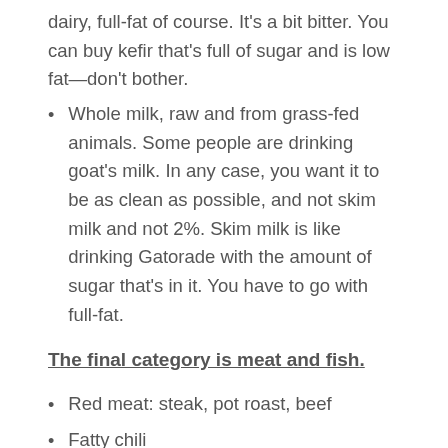dairy, full-fat of course. It's a bit bitter. You can buy kefir that's full of sugar and is low fat—don't bother.
Whole milk, raw and from grass-fed animals. Some people are drinking goat's milk. In any case, you want it to be as clean as possible, and not skim milk and not 2%. Skim milk is like drinking Gatorade with the amount of sugar that's in it. You have to go with full-fat.
The final category is meat and fish.
Red meat: steak, pot roast, beef
Fatty chili
Brats, sausage. You can go to a store and find all-lean brats and lean…